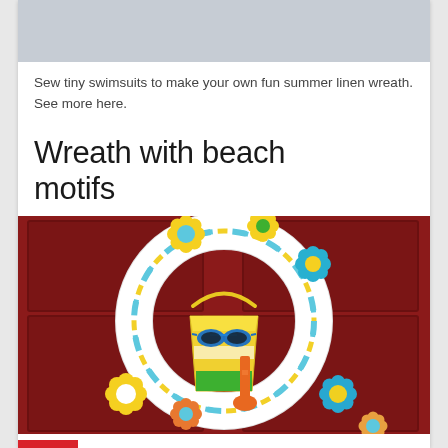[Figure (photo): Top portion of a previous article image, partially cropped — light gray/blue toned image area]
Sew tiny swimsuits to make your own fun summer linen wreath. See more here.
Wreath with beach motifs
[Figure (photo): A colorful beach-themed wreath hung on a dark red door. The wreath is wrapped in blue, yellow, and white striped fabric, decorated with foam flowers in yellow, blue, and orange. In the center hangs a yellow and green sand bucket containing sunglasses, with an orange shovel beside it.]